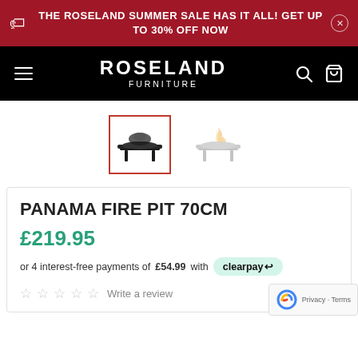THE ROSELAND SUMMER SALE HAS IT ALL! GET UP TO 30% OFF NOW
[Figure (logo): Roseland Furniture logo with hamburger menu, search and bag icons on black navigation bar]
[Figure (photo): Two product thumbnails of Panama Fire Pit 70cm; first selected with red border showing black fire pit, second faded showing fire pit with flames]
PANAMA FIRE PIT 70CM
£219.95
or 4 interest-free payments of £54.99 with clearpay
Write a review